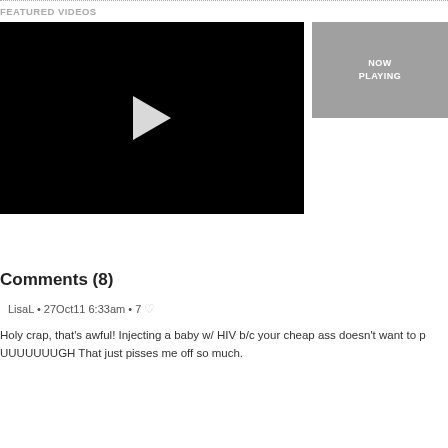FEATURED VIDEOS
[Figure (other): Black video player with white play button triangle in center]
[Figure (other): Gray box with NOW PLAYING text in white]
Comments (8)
LisaL • 27Oct11 6:33am • 7 ♡
Holy crap, that's awful! Injecting a baby w/ HIV b/c your cheap ass doesn't want to p UUUUUUUGH That just pisses me off so much.